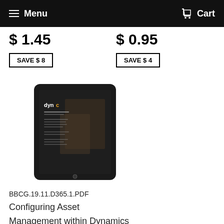Menu  Cart
$ 1.45
$ 0.95
SAVE $ 8
SAVE $ 4
[Figure (photo): A tablet device displayed at an angle showing a dark screen with 'dync' branding and content pages]
BBCG.19.11.D365.1.PDF
Configuring Asset
Management within Dynamics